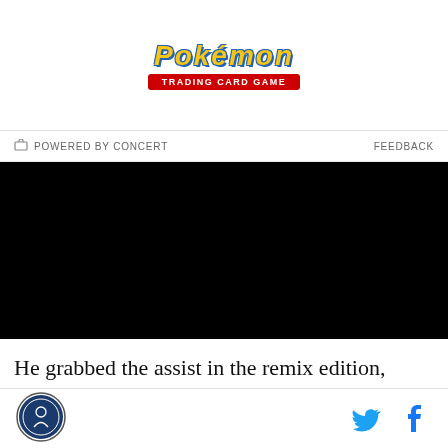[Figure (logo): Pokémon Trading Card Game logo with yellow italic text and red badge]
POWERED BY CONCERT    FEEDBACK
[Figure (photo): Black video player / video embed area]
He grabbed the assist in the remix edition, dropping a
[Figure (logo): Site logo circular badge with basketball figure, bottom left]
[Figure (logo): Twitter bird icon and Facebook f icon, bottom right social links]